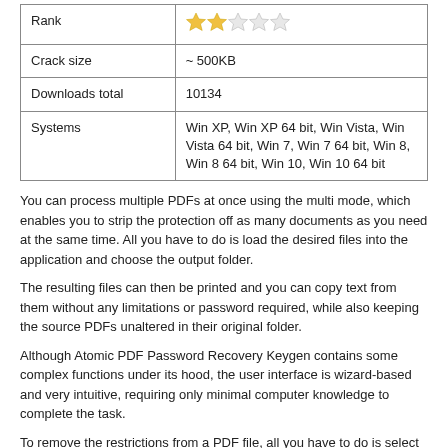|  |  |
| --- | --- |
| Rank | ★★☆☆☆ |
| Crack size | ~ 500KB |
| Downloads total | 10134 |
| Systems | Win XP, Win XP 64 bit, Win Vista, Win Vista 64 bit, Win 7, Win 7 64 bit, Win 8, Win 8 64 bit, Win 10, Win 10 64 bit |
You can process multiple PDFs at once using the multi mode, which enables you to strip the protection off as many documents as you need at the same time. All you have to do is load the desired files into the application and choose the output folder.
The resulting files can then be printed and you can copy text from them without any limitations or password required, while also keeping the source PDFs unaltered in their original folder.
Although Atomic PDF Password Recovery Keygen contains some complex functions under its hood, the user interface is wizard-based and very intuitive, requiring only minimal computer knowledge to complete the task.
To remove the restrictions from a PDF file, all you have to do is select it from your computer, choose the output directory and press the "Next" button. If the document is encrypted, you can enter the password into the dedicated field before starting the process, but it is not a required step.